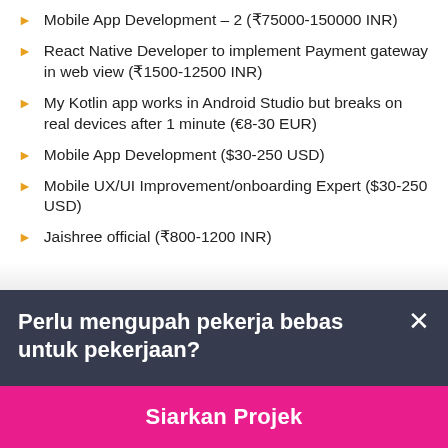Mobile App Development – 2 (₹75000-150000 INR)
React Native Developer to implement Payment gateway in web view (₹1500-12500 INR)
My Kotlin app works in Android Studio but breaks on real devices after 1 minute (€8-30 EUR)
Mobile App Development ($30-250 USD)
Mobile UX/UI Improvement/onboarding Expert ($30-250 USD)
Jaishree official (₹800-1200 INR)
Perlu mengupah pekerja bebas untuk pekerjaan?
Siarkan Projek